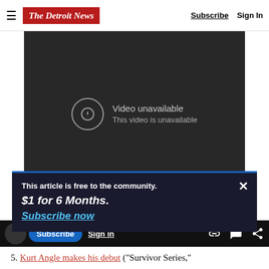The Detroit News | Subscribe | Sign In
[Figure (screenshot): Embedded video player showing 'Video unavailable / This video is unavailable' message on dark background]
This article is free to the community.
$1 for 6 Months.
Subscribe now
5. Kurt Angle makes his debut ("Survivor Series,"